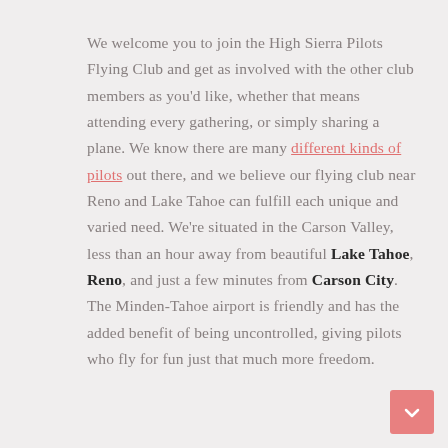We welcome you to join the High Sierra Pilots Flying Club and get as involved with the other club members as you'd like, whether that means attending every gathering, or simply sharing a plane. We know there are many different kinds of pilots out there, and we believe our flying club near Reno and Lake Tahoe can fulfill each unique and varied need. We're situated in the Carson Valley, less than an hour away from beautiful Lake Tahoe, Reno, and just a few minutes from Carson City. The Minden-Tahoe airport is friendly and has the added benefit of being uncontrolled, giving pilots who fly for fun just that much more freedom.